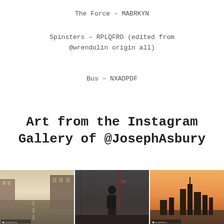The Force – MABRKYN
Spinsters – RPLQFRD (edited from @wrendolin origin all)
Bus – NXADPDF
Art from the Instagram Gallery of @JosephAsbury
[Figure (photo): Three Instagram photos: urban street scene, dark alley with person, sunset city skyline]